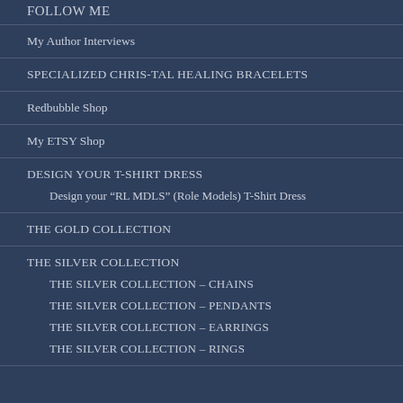FOLLOW ME
My Author Interviews
SPECIALIZED CHRIS-TAL HEALING BRACELETS
Redbubble Shop
My ETSY Shop
DESIGN YOUR T-SHIRT DRESS
Design your “RL MDLS” (Role Models) T-Shirt Dress
THE GOLD COLLECTION
THE SILVER COLLECTION
THE SILVER COLLECTION – CHAINS
THE SILVER COLLECTION – PENDANTS
THE SILVER COLLECTION – EARRINGS
THE SILVER COLLECTION – RINGS